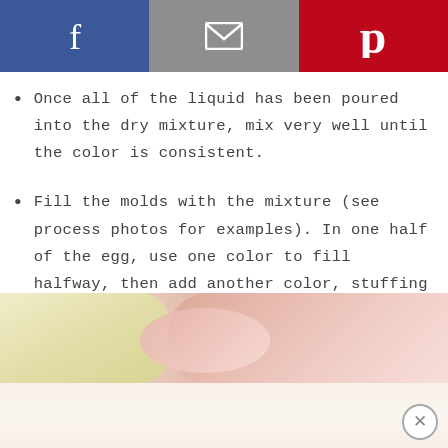[Figure (other): Social share bar with Facebook (blue), Email (gray), and Pinterest (red) buttons with white icons]
Once all of the liquid has been poured into the dry mixture, mix very well until the color is consistent.
Fill the molds with the mixture (see process photos for examples). In one half of the egg, use one color to fill halfway, then add another color, stuffing it firmly to fill that half of egg. Repeat this process with the other two colors, filling the other half of the egg.
[Figure (photo): Photo of hands holding colorful egg bath bomb mixture — pastel yellow and pink colors visible]